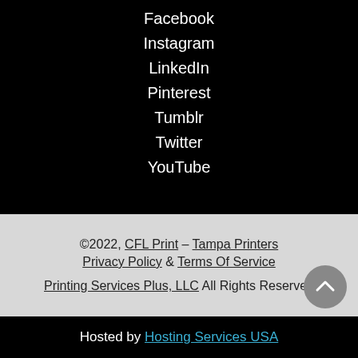Facebook
Instagram
LinkedIn
Pinterest
Tumblr
Twitter
YouTube
©2022, CFL Print – Tampa Printers Privacy Policy & Terms Of Service Printing Services Plus, LLC All Rights Reserved
Hosted by Hosting Services USA